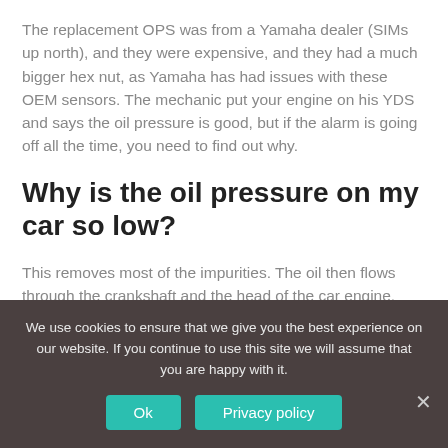The replacement OPS was from a Yamaha dealer (SIMs up north), and they were expensive, and they had a much bigger hex nut, as Yamaha has had issues with these OEM sensors. The mechanic put your engine on his YDS and says the oil pressure is good, but if the alarm is going off all the time, you need to find out why.
Why is the oil pressure on my car so low?
This removes most of the impurities. The oil then flows through the crankshaft and the head of the car engine. However, if any of these oil passages are clogged, it may...
We use cookies to ensure that we give you the best experience on our website. If you continue to use this site we will assume that you are happy with it.